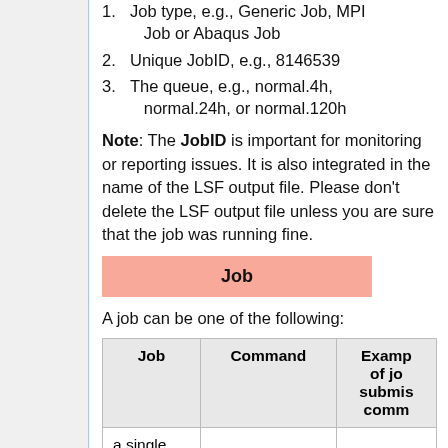1. Job type, e.g., Generic Job, MPI Job or Abaqus Job
2. Unique JobID, e.g., 8146539
3. The queue, e.g., normal.4h, normal.24h, or normal.120h
Note: The JobID is important for monitoring or reporting issues. It is also integrated in the name of the LSF output file. Please don't delete the LSF output file unless you are sure that the job was running fine.
Job
A job can be one of the following:
| Job | Command | Examples of job submission commands |
| --- | --- | --- |
| a single |  |  |